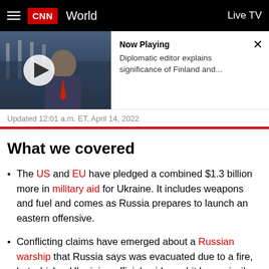CNN World — Live TV
[Figure (screenshot): CNN video thumbnail showing a man in a suit with a play button overlay, with EU flags visible in the background]
Now Playing
Diplomatic editor explains significance of Finland and...
Updated 12:01 a.m. ET, April 14, 2022
What we covered
The US and EU have pledged a combined $1.3 billion more in military aid for Ukraine. It includes weapons and fuel and comes as Russia prepares to launch an eastern offensive.
Conflicting claims have emerged about a Russian warship that Russia says was evacuated due to a fire, but which a Ukrainian official said was hit by a missile strike.